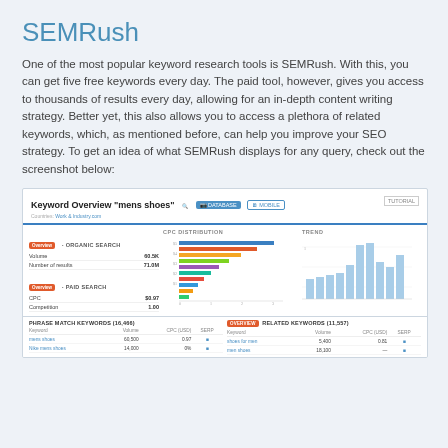SEMRush
One of the most popular keyword research tools is SEMRush. With this, you can get five free keywords every day. The paid tool, however, gives you access to thousands of results every day, allowing for an in-depth content writing strategy. Better yet, this also allows you to access a plethora of related keywords, which, as mentioned before, can help you improve your SEO strategy. To get an idea of what SEMRush displays for any query, check out the screenshot below:
[Figure (screenshot): SEMRush Keyword Overview screenshot for 'mens shoes' showing organic search metrics (Volume: 60.5K, Number of results: 71.0M), paid search metrics (CPC: $0.97, Competition: 1.00), CPC distribution bar chart, trend bar chart, phrase match keywords table (16,466), and related keywords table (11,557).]